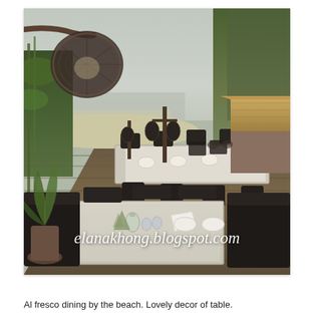[Figure (photo): Al fresco beachside restaurant with dark wicker/rattan chairs and tables set with white linens, glassware and table decorations. A large woven spherical pendant lamp hangs from a branch in the upper left. Decorative lantern poles stand in the background. Sandy beach and calm water visible behind the dining area. Trees on both left and right. Thatched-roof hut structure on the right. Wood deck flooring. Watermark text 'elanakhong.blogspot.com' overlaid on lower portion of image.]
Al fresco dining by the beach. Lovely decor of table.